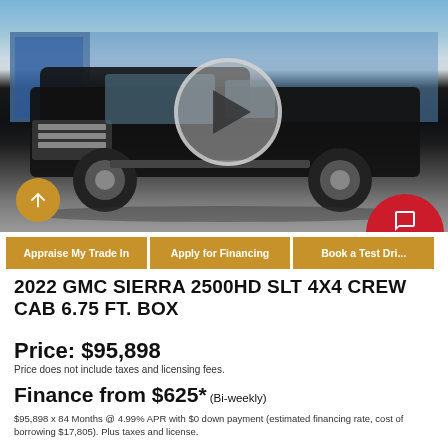[Figure (photo): Black GMC Sierra 2500HD truck parked at a dealership with blue signage, video play button overlay visible in center]
Appraise My Trade In | Apply for Financing | Book a Test Drive
2022 GMC SIERRA 2500HD SLT 4X4 CREW CAB 6.75 FT. BOX
Price: $95,898
Price does not include taxes and licensing fees.
Finance from $625* (Bi-weekly)
$95,898 x 84 Months @ 4.99% APR with $0 down payment (estimated financing rate, cost of borrowing $17,805). Plus taxes and license.